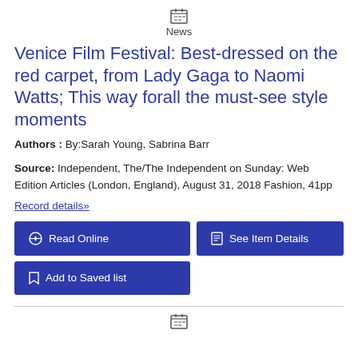News
Venice Film Festival: Best-dressed on the red carpet, from Lady Gaga to Naomi Watts; This way forall the must-see style moments
Authors : By:Sarah Young, Sabrina Barr
Source: Independent, The/The Independent on Sunday: Web Edition Articles (London, England), August 31, 2018 Fashion, 41pp
Record details»
Read Online
See Item Details
Add to Saved list